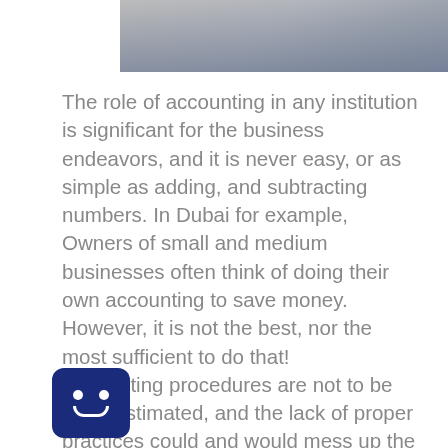[Figure (photo): Partial photo showing a person, cropped at top of page]
The role of accounting in any institution is significant for the business endeavors, and it is never easy, or as simple as adding, and subtracting numbers. In Dubai for example, Owners of small and medium businesses often think of doing their own accounting to save money. However, it is not the best, nor the most sufficient to do that! Accounting procedures are not to be underestimated, and the lack of proper practices could and would mess up the company's numbers impeding the growth of the business, profitability, and development. Meaning, a simple error could have a great unfortunate impact!